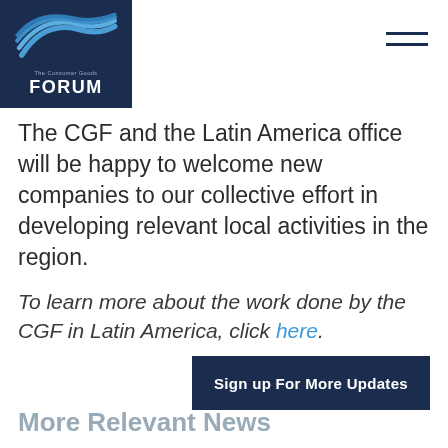The Consumer Goods FORUM
The CGF and the Latin America office will be happy to welcome new companies to our collective effort in developing relevant local activities in the region.
To learn more about the work done by the CGF in Latin America, click here.
Sign up For More Updates
More Relevant News